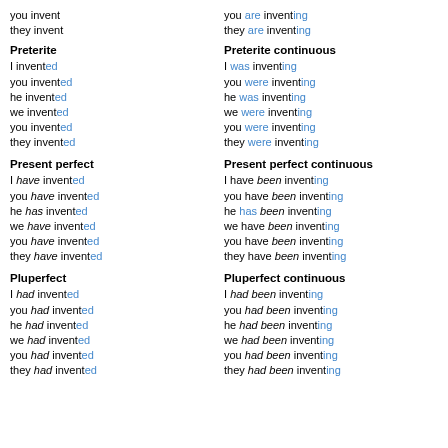you invent
they invent
you are inventing
they are inventing
Preterite
Preterite continuous
I invented
you invented
he invented
we invented
you invented
they invented
I was inventing
you were inventing
he was inventing
we were inventing
you were inventing
they were inventing
Present perfect
Present perfect continuous
I have invented
you have invented
he has invented
we have invented
you have invented
they have invented
I have been inventing
you have been inventing
he has been inventing
we have been inventing
you have been inventing
they have been inventing
Pluperfect
Pluperfect continuous
I had invented
you had invented
he had invented
we had invented
you had invented
they had invented
I had been inventing
you had been inventing
he had been inventing
we had been inventing
you had been inventing
they had been inventing